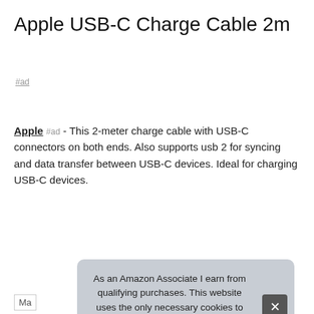Apple USB-C Charge Cable 2m
#ad
Apple #ad - This 2-meter charge cable with USB-C connectors on both ends. Also supports usb 2 for syncing and data transfer between USB-C devices. Ideal for charging USB-C devices.
More information #ad
As an Amazon Associate I earn from qualifying purchases. This website uses the only necessary cookies to ensure you get the best experience on our website. More information
| Ma |  |
| Height | 4 Inches |